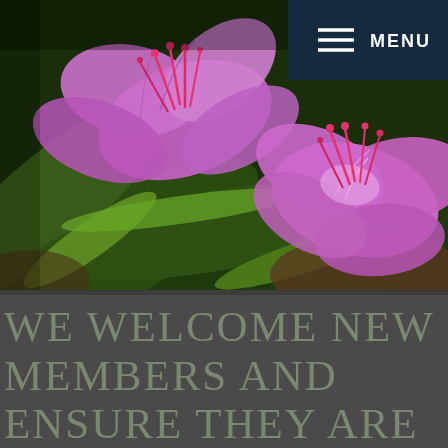[Figure (photo): Close-up photograph of purple/magenta rhododendron flowers with bright pink stamens against dark green leaves, with a navy blue menu bar overlay in the top right corner.]
We welcome new members and ensure they are integrated into the section